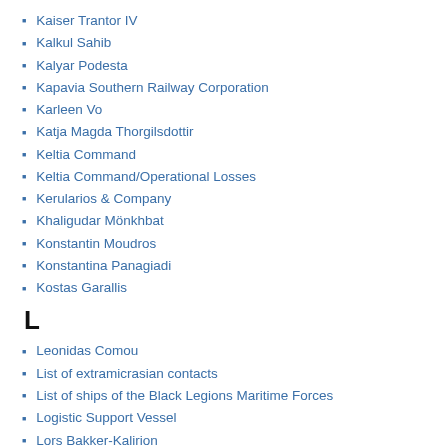Kaiser Trantor IV
Kalkul Sahib
Kalyar Podesta
Kapavia Southern Railway Corporation
Karleen Vo
Katja Magda Thorgilsdottir
Keltia Command
Keltia Command/Operational Losses
Kerularios & Company
Khaligudar Mönkhbat
Konstantin Moudros
Konstantina Panagiadi
Kostas Garallis
L
Leonidas Comou
List of extramicrasian contacts
List of ships of the Black Legions Maritime Forces
Logistic Support Vessel
Lors Bakker-Kalirion
Lune Road
Lune Villa Aerodrome